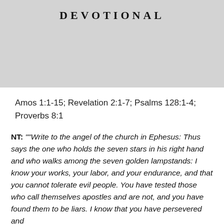[Figure (illustration): Gray placeholder image area with the word DEVOTIONAL in bold uppercase spaced letters near the top]
Amos 1:1-15; Revelation 2:1-7; Psalms 128:1-4; Proverbs 8:1
NT: ““Write to the angel of the church in Ephesus: Thus says the one who holds the seven stars in his right hand and who walks among the seven golden lampstands: I know your works, your labor, and your endurance, and that you cannot tolerate evil people. You have tested those who call themselves apostles and are not, and you have found them to be liars. I know that you have persevered and